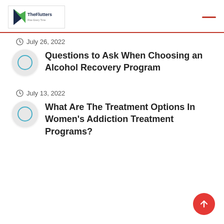[Figure (logo): TheFlutters logo with triangular bird icon in navy and green]
July 26, 2022
Questions to Ask When Choosing an Alcohol Recovery Program
July 13, 2022
What Are The Treatment Options In Women's Addiction Treatment Programs?